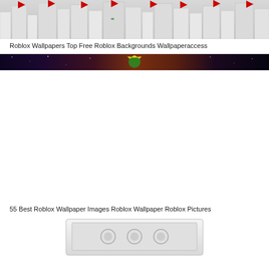[Figure (photo): Roblox city skyline wallpaper with white/grey buildings and red flag logos at top]
Roblox Wallpapers Top Free Roblox Backgrounds Wallpaperaccess
[Figure (photo): Dark banner image with galaxy/nebula background and a green/yellow character in center]
55 Best Roblox Wallpaper Images Roblox Wallpaper Roblox Pictures
[Figure (photo): Partial view of a white laptop or tablet device, bottom portion visible]